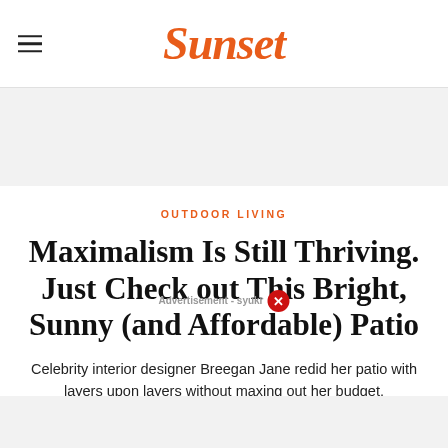Sunset
[Figure (other): Gray advertisement banner area]
OUTDOOR LIVING
Maximalism Is Still Thriving. Just Check out This Bright, Sunny (and Affordable) Patio
Celebrity interior designer Breegan Jane redid her patio with layers upon layers without maxing out her budget.